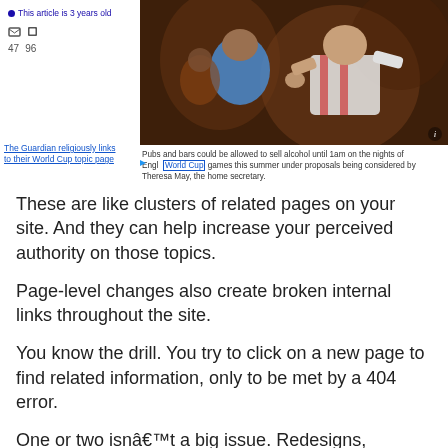[Figure (screenshot): Screenshot of a web article showing a photo of England football fans in a pub, with a Guardian link annotation pointing to a 'World Cup' topic page link in the article caption. Social sharing icons (47 shares, 96 comments) and article age indicator visible. Caption reads: 'Pubs and bars could be allowed to sell alcohol until 1am on the nights of England World Cup games this summer under proposals being considered by Theresa May, the home secretary.']
These are like clusters of related pages on your site. And they can help increase your perceived authority on those topics.
Page-level changes also create broken internal links throughout the site.
You know the drill. You try to click on a new page to find related information, only to be met by a 404 error.
One or two isnâ€™t a big issue. Redesigns, however,